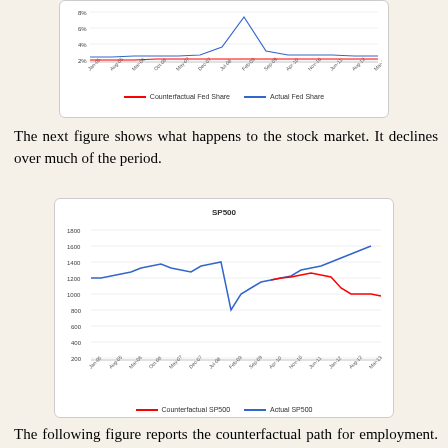[Figure (continuous-plot): Partial top chart showing Counterfactual Fed Share (red) and Actual Fed Share (blue) lines from Jan-05 to Mar-13. Blue line shows a spike around Feb-09. Y-axis shows values around 2%-8%.]
The next figure shows what happens to the stock market. It declines over much of the period.
[Figure (continuous-plot): Line chart showing Counterfactual SP500 (red) and Actual SP500 (blue) from Jan-05 to Mar-13. Blue line rises to ~1450 before 2008 crisis, drops to ~780 around Feb-09, then recovers to ~1600 by Mar-13. Red line diverges from blue starting around Sep-10, declining to ~1000 by Mar-13.]
The following figure reports the counterfactual path for employment. Again, not a pretty picture.